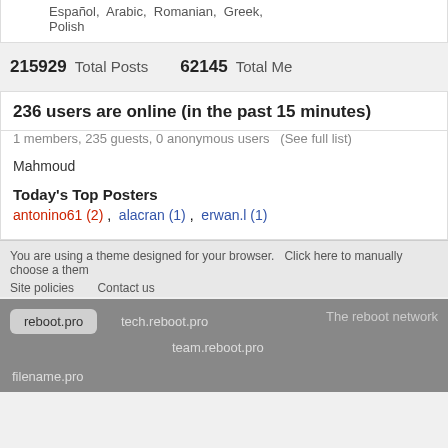Español, Arabic, Romanian, Greek, Polish
215929 Total Posts   62145 Total Me
236 users are online (in the past 15 minutes)
1 members, 235 guests, 0 anonymous users (See full list)
Mahmoud
Today's Top Posters
antonino61 (2) , alacran (1) , erwan.l (1)
You are using a theme designed for your browser. Click here to manually choose a them
Site policies   Contact us
reboot.pro   tech.reboot.pro   The reboot network   team.reboot.pro   filename.pro